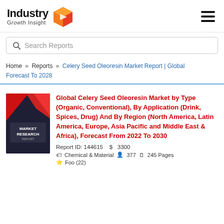Industry Growth Insight
Search Reports
Home » Reports » Celery Seed Oleoresin Market Report | Global Forecast To 2028
[Figure (illustration): Market Research Report book cover with red and dark geometric design]
Global Celery Seed Oleoresin Market by Type (Organic, Conventional), By Application (Drink, Spices, Drug) And By Region (North America, Latin America, Europe, Asia Pacific and Middle East & Africa), Forecast From 2022 To 2030
Report ID: 144615   $  3300
Chemical & Material   377   245 Pages
Foo (22)